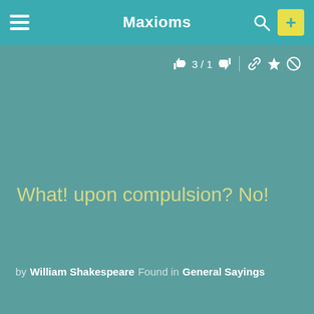Maxioms
3 / 1
What! upon compulsion? No!
by William Shakespeare  Found in  General Sayings